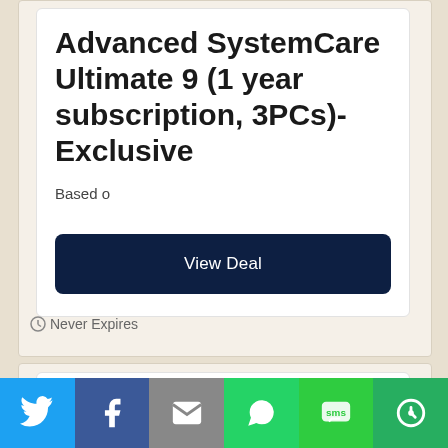Advanced SystemCare Ultimate 9 (1 year subscription, 3PCs)- Exclusive
Based o
View Deal
Never Expires
The City of Fools Full Version (Город Дураков)
...along with fools around ? Embark on a fun...
[Figure (infographic): Social sharing bar with icons for Twitter, Facebook, Email, WhatsApp, SMS, and More]